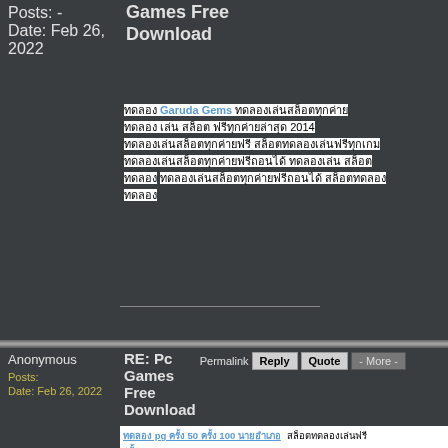Posts: 
Date: Feb 26, 2022
Games Free Download
ทดลอง Garuda Gems ทดลองเล่นสล็อตทุกค่าย ทดลอง เล่น สล็อต ฟรีทุกค่ายล่าสุด 2014 ทดลองเล่นสล็อตทุกค่ายฟรี สล็อตทดลองเล่นฟรีทุกเกม ทดลองเล่นสล็อตทุกค่ายฟรีถอนได้ ทดลองเล่น สล็อต pg ทดลอง 50 ครั้ง 100 ครั้งนายอำเภอ สล็อตทดลองเล่นฟรี
Anonymous
Posts:
Date: Feb 26, 2022
RE: Pc Games Free Download
Permalink
Reply
Quote
- More -
ทดลอง pg ครั้ง 50 ครั้ง 100 นายอำเภอครั้ง สล็อตทดลองเล่นฟรี